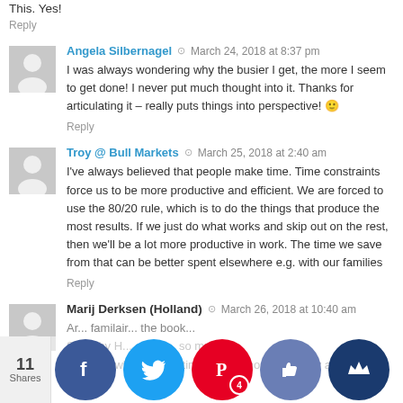This. Yes!
Reply
Angela Silbernagel · March 24, 2018 at 8:37 pm
I was always wondering why the busier I get, the more I seem to get done! I never put much thought into it. Thanks for articulating it – really puts things into perspective! 🙂
Reply
Troy @ Bull Markets · March 25, 2018 at 2:40 am
I've always believed that people make time. Time constraints force us to be more productive and efficient. We are forced to use the 80/20 rule, which is to do the things that produce the most results. If we just do what works and skip out on the rest, then we'll be a lot more productive in work. The time we save from that can be better spent elsewhere e.g. with our families
Reply
Marij Derksen (Holland) · March 26, 2018 at 10:40 am
Are you familair... the book... S... Why H... o little... so mu... It o...ons why too little time or not enough mo...ey alters yo...